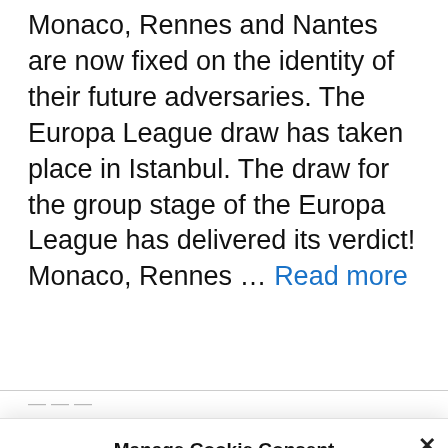Monaco, Rennes and Nantes are now fixed on the identity of their future adversaries. The Europa League draw has taken place in Istanbul. The draw for the group stage of the Europa League has delivered its verdict! Monaco, Rennes … Read more
Manage Cookie Consent
To provide the best experiences, we use technologies like cookies to store and/or access device information. Consenting to these technologies will allow us to process data such as browsing behavior or unique IDs on this site. Not consenting or withdrawing consent, may adversely affect certain features and functions.
Accept
Cookie Policy